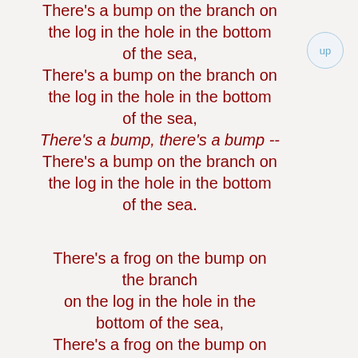There's a bump on the branch on the log in the hole in the bottom of the sea, There's a bump on the branch on the log in the hole in the bottom of the sea, There's a bump, there's a bump -- There's a bump on the branch on the log in the hole in the bottom of the sea.
There's a frog on the bump on the branch on the log in the hole in the bottom of the sea, There's a frog on the bump on the branch